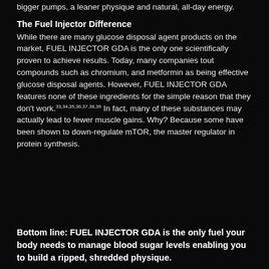bigger pumps, a leaner physique and natural, all-day energy.
The Fuel Injector Difference
While there are many glucose disposal agent products on the market, FUEL INJECTOR GDA is the only one scientifically proven to achieve results. Today, many companies tout compounds such as chromium, and metformin as being effective glucose disposal agents. However, FUEL INJECTOR GDA features none of these ingredients for the simple reason that they don't work.33,34,35,36,37,38,39 In fact, many of these substances may actually lead to fewer muscle gains. Why? Because some have been shown to down-regulate mTOR, the master regulator in protein synthesis.
Bottom line: FUEL INJECTOR GDA is the only fuel your body needs to manage blood sugar levels enabling you to build a ripped, shredded physique.